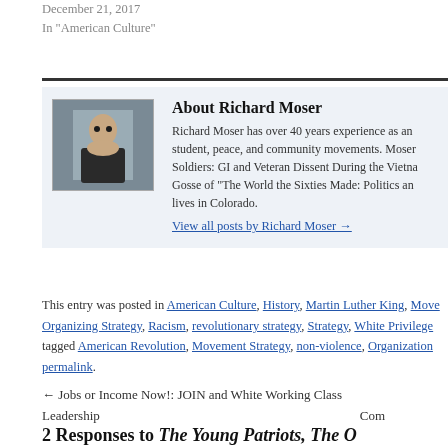December 21, 2017
In "American Culture"
About Richard Moser
Richard Moser has over 40 years experience as an student, peace, and community movements. Moser Soldiers: GI and Veteran Dissent During the Vietna Gosse of "The World the Sixties Made: Politics an lives in Colorado.
View all posts by Richard Moser →
This entry was posted in American Culture, History, Martin Luther King, Move Organizing Strategy, Racism, revolutionary strategy, Strategy, White Privilege tagged American Revolution, Movement Strategy, non-violence, Organization permalink.
← Jobs or Income Now!: JOIN and White Working Class Leadership
Com
2 Responses to The Young Patriots, The O